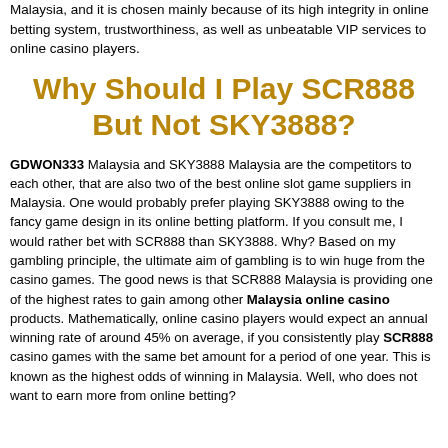Malaysia, and it is chosen mainly because of its high integrity in online betting system, trustworthiness, as well as unbeatable VIP services to online casino players.
Why Should I Play SCR888 But Not SKY3888?
GDWON333 Malaysia and SKY3888 Malaysia are the competitors to each other, that are also two of the best online slot game suppliers in Malaysia. One would probably prefer playing SKY3888 owing to the fancy game design in its online betting platform. If you consult me, I would rather bet with SCR888 than SKY3888. Why? Based on my gambling principle, the ultimate aim of gambling is to win huge from the casino games. The good news is that SCR888 Malaysia is providing one of the highest rates to gain among other Malaysia online casino products. Mathematically, online casino players would expect an annual winning rate of around 45% on average, if you consistently play SCR888 casino games with the same bet amount for a period of one year. This is known as the highest odds of winning in Malaysia. Well, who does not want to earn more from online betting?